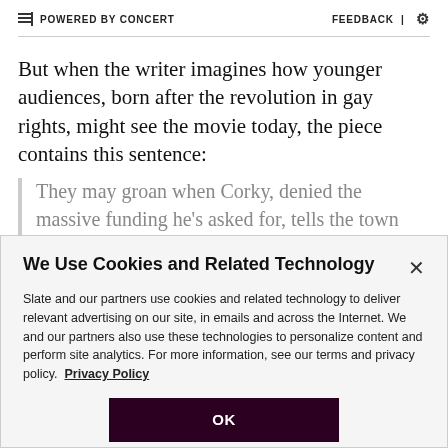POWERED BY CONCERT   FEEDBACK | ⚙
But when the writer imagines how younger audiences, born after the revolution in gay rights, might see the movie today, the piece contains this sentence:
They may groan when Corky, denied the massive funding he's asked for, tells the town council he's
We Use Cookies and Related Technology
Slate and our partners use cookies and related technology to deliver relevant advertising on our site, in emails and across the Internet. We and our partners also use these technologies to personalize content and perform site analytics. For more information, see our terms and privacy policy.  Privacy Policy
OK